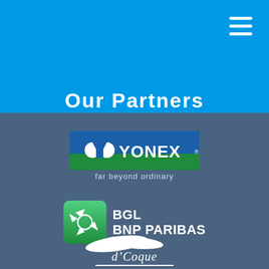Our Partners
[Figure (logo): Yonex logo — blue and green rectangular logo with white Y letter mark and YONEX text, tagline: far beyond ordinary]
[Figure (logo): BGL BNP Paribas logo — green square icon with white star/arrow motif and BGL BNP PARIBAS text]
[Figure (logo): d'Coque logo — white stylized roof/arch shape above d'Coque text with underline]